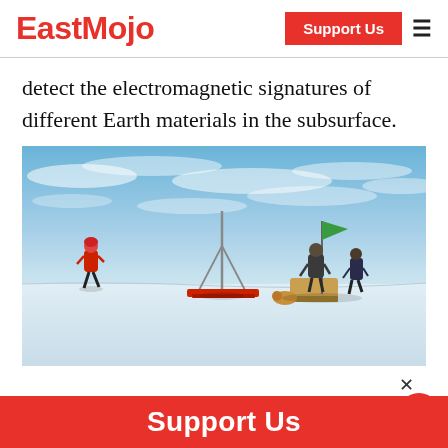EastMojo | Support Us
detect the electromagnetic signatures of different Earth materials in the subsurface.
[Figure (photo): Researchers on a vast snowy/icy landscape. One person in red gear walks on the left; in the center is a pole/antenna structure with a red instrument on the snow; to the right, two people stand near equipment with a green flag on a pole. Sky is bright blue with wispy clouds.]
Support Us